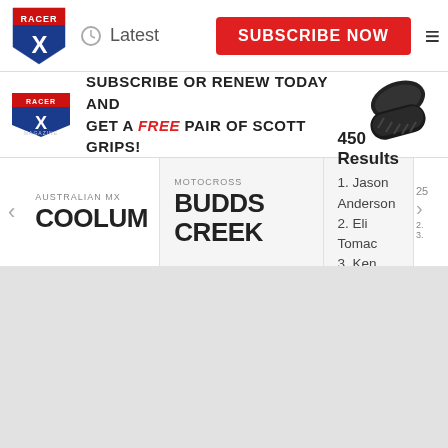[Figure (logo): Racer X shield logo with red, white, and blue coloring and X in center]
Latest
SUBSCRIBE NOW
[Figure (logo): Racer X Magazine logo small with red X]
SUBSCRIBE OR RENEW TODAY AND GET A FREE PAIR OF SCOTT GRIPS!
[Figure (photo): Black motorcycle grips product photo]
AUSTRALIAN MX
COOLUM
MOTOCROSS
BUDDS CREEK
450 Results
1. Jason Anderson
2. Eli Tomac
3. Ken Roczen